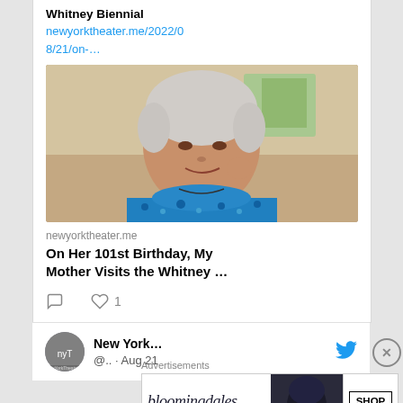Whitney Biennial
newyorktheater.me/2022/08/21/on-…
[Figure (photo): Elderly woman with white/gray hair wearing a blue patterned top, looking at camera with a slight smile, appearing to be at an art museum]
newyorktheater.me
On Her 101st Birthday, My Mother Visits the Whitney …
comment icon  heart icon  1
[Figure (logo): New York Theater avatar/logo]
New York…  @.. · Aug 21
Advertisements
[Figure (screenshot): Bloomingdale's advertisement banner reading 'bloomingdales View Today's Top Deals! SHOP NOW >']